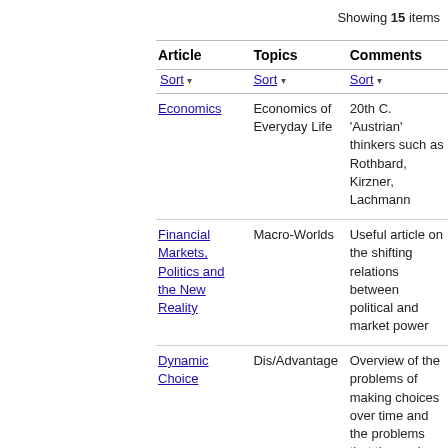Showing 15 items
| Article | Topics | Comments |
| --- | --- | --- |
| Sort | Sort | Sort |
| Economics | Economics of Everyday Life | 20th C. 'Austrian' thinkers such as Rothbard, Kirzner, Lachmann |
| Financial Markets, Politics and the New Reality | Macro-Worlds | Useful article on the shifting relations between political and market power |
| Dynamic Choice | Dis/Advantage | Overview of the problems of making choices over time and the problems that these give rise |